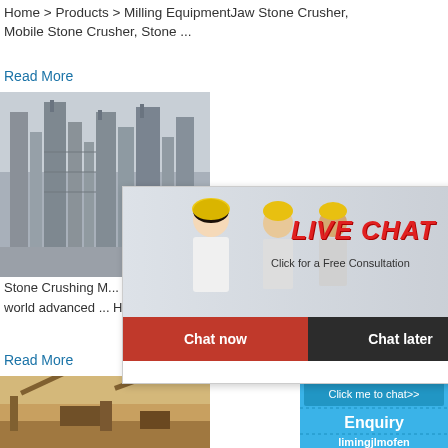Home > Products > Milling EquipmentJaw Stone Crusher, Mobile Stone Crusher, Stone ...
Read More
[Figure (photo): Industrial stone crushing / cement plant facility with towers and machinery]
Stone Crushing M... Cement plant e... series of Europ... world advanced ... Hongji Crusher For Sale
Read More
[Figure (screenshot): Live Chat popup overlay with workers in hard hats, red LIVE CHAT heading, subtitle 'Click for a Free Consultation', Chat now and Chat later buttons]
[Figure (photo): Stone crushing / mining equipment on sandy terrain]
[Figure (photo): Right sidebar with crusher machine image, hour online text, Click me to chat>> button, Enquiry label, limingjlmofen text on blue background]